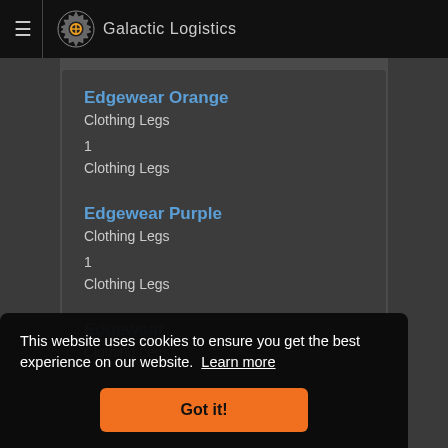≡  Clo  Galactic Logistics
Edgewear Orange
Clothing Legs
1
Clothing Legs
Edgewear Purple
Clothing Legs
1
Clothing Legs
Edgewear
Clothing Legs
This website uses cookies to ensure you get the best experience on our website. Learn more
Got it!